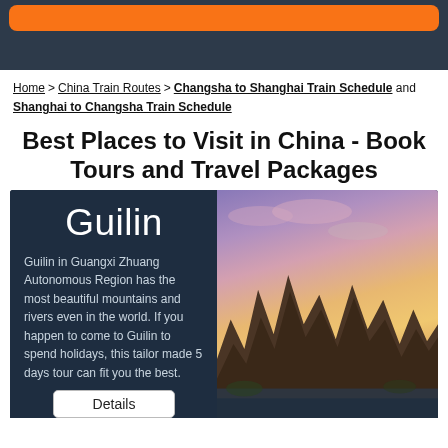[Figure (photo): Top banner with orange bar on dark background, partial food/travel scene]
Home > China Train Routes > Changsha to Shanghai Train Schedule and Shanghai to Changsha Train Schedule
Best Places to Visit in China - Book Tours and Travel Packages
[Figure (photo): Guilin travel card: left side dark navy with city name 'Guilin' and description text and Details button; right side photo of Guilin karst mountains with dramatic sunset sky]
Guilin in Guangxi Zhuang Autonomous Region has the most beautiful mountains and rivers even in the world. If you happen to come to Guilin to spend holidays, this tailor made 5 days tour can fit you the best.
Details